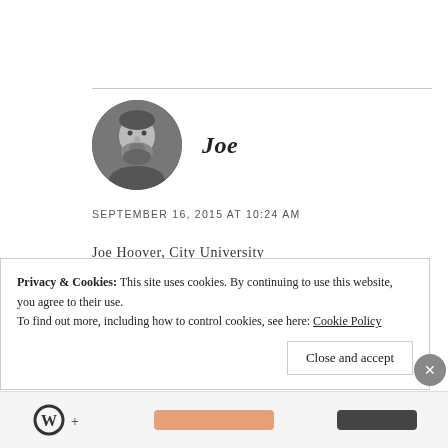[Figure (photo): Circular avatar photo of a man with a beard, black and white]
Joe
SEPTEMBER 16, 2015 AT 10:24 AM
Joe Hoover, City University London
★ Like
Privacy & Cookies: This site uses cookies. By continuing to use this website, you agree to their use. To find out more, including how to control cookies, see here: Cookie Policy
Close and accept